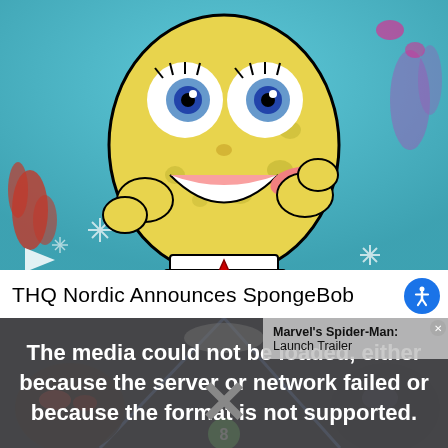[Figure (screenshot): SpongeBob SquarePants cartoon character making a surprised/mocking face with tongue out, underwater scene background with coral and sea plants, brown pants, red tie.]
THQ Nordic Announces SpongeBob
[Figure (screenshot): Video player error overlay showing 'The media could not be loaded, either because the server or network failed or because the format is not supported.' with a large X symbol. Overlaid on a dark action scene (Marvel's Spider-Man launch trailer). A small overlay popup in the upper right shows 'Marvel's Spider-Man: Launch Trailer'. A green badge with number 8 is visible at the bottom center.]